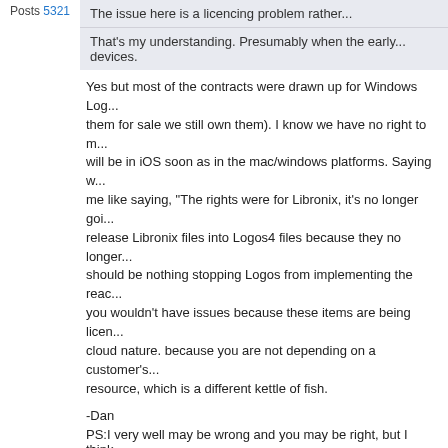Posts 5321
The issue here is a licencing problem rather...
That's my understanding. Presumably when the early... devices.
Yes but most of the contracts were drawn up for Windows Log... them for sale we still own them). I know we have no right to m... will be in iOS soon as in the mac/windows platforms. Saying w... me like saying, "The rights were for Libronix, it's no longer goi... release Libronix files into Logos4 files because they no longer... should be nothing stopping Logos from implementing the reac... you wouldn't have issues because these items are being licen... cloud nature. because you are not depending on a customer's... resource, which is a different kettle of fish.
-Dan
PS:I very well may be wrong and you may be right, but I think...
St. Jerome's House † Install
Mark Barnes | Forum Activity | Replied: Sat, Nov 20 2010 2:28 PM
Posts 13428
Daniel W. Francis: as I understand it people who own the books own the...
I wish that was true. Unfortunately in the new electronic world... and it's not true with the resources you buy from Logos. You s... use the resource in certain ways.